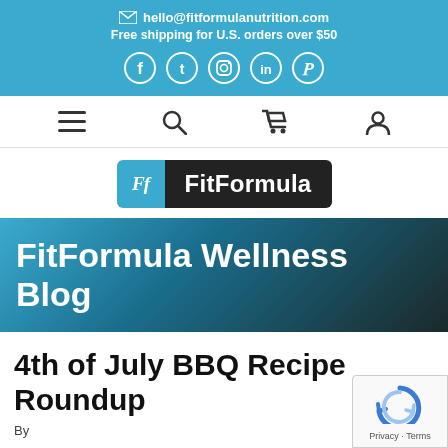hello@fitformulanutrition.com
Free shipping for U.S. orders over $50
[Figure (other): Social media icons: Facebook, Twitter, Instagram, LinkedIn, Pinterest]
[Figure (other): Navigation bar with hamburger menu, search, cart, and user account icons]
[Figure (logo): FitFormula logo with blue Ff icon and dark background text]
FitFormula Wellness Blog
4th of July BBQ Recipe Roundup
By